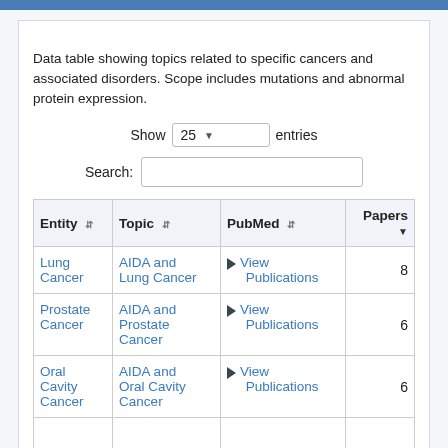Data table showing topics related to specific cancers and associated disorders. Scope includes mutations and abnormal protein expression.
| Entity | Topic | PubMed | Papers |
| --- | --- | --- | --- |
| Lung Cancer | AIDA and Lung Cancer | ▶ View Publications | 8 |
| Prostate Cancer | AIDA and Prostate Cancer | ▶ View Publications | 6 |
| Oral Cavity Cancer | AIDA and Oral Cavity Cancer | ▶ View Publications | 6 |